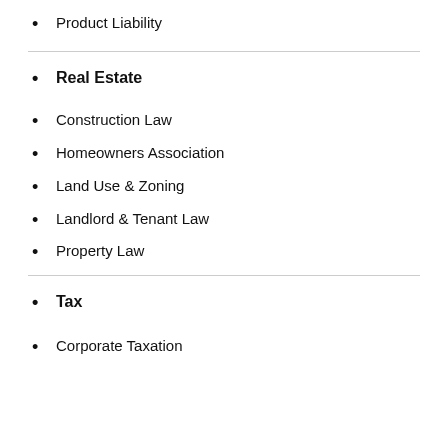Product Liability
Real Estate
Construction Law
Homeowners Association
Land Use & Zoning
Landlord & Tenant Law
Property Law
Tax
Corporate Taxation